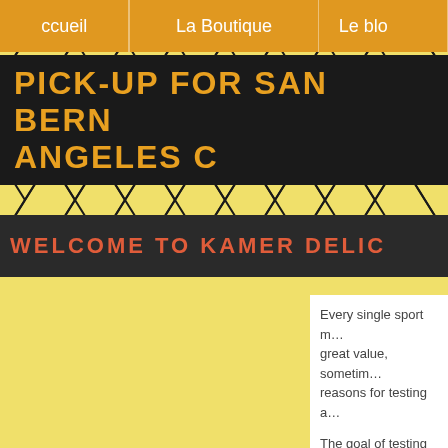ccueil   La Boutique   Le blo
PICK-UP FOR SAN BERN… ANGELES C…
WELCOME TO KAMER DELIC…
[Figure (illustration): Yellow background with black triangle/geometric pattern decoration]
Every single sport m… great value, sometim… reasons for testing a…
The goal of testing fo… improve performance…
The most common u… might be relevant to t… we can consider whe…